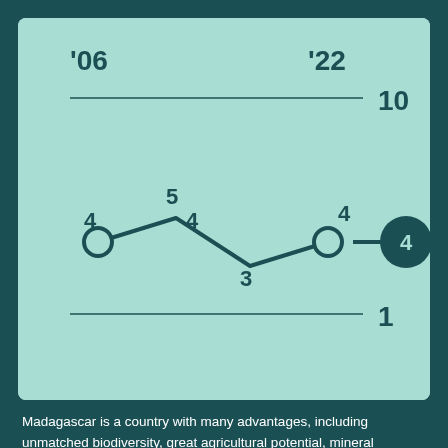[Figure (line-chart): ]
Madagascar is a country with many advantages, including unmatched biodiversity, great agricultural potential, mineral resources and abundant labor. Madagascar has shown its ability to benefit...